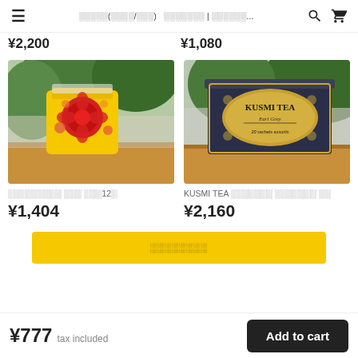≡  ░░░░░(░░░░/░░░)  ░░░░░░░ | ░░░░░░...  🔍  🛒
¥2,200  ¥1,080
[Figure (photo): Yellow bag product with red floral seal on wooden table with green plants in background]
░░░░░░░░░ ░░░ ░░░12░
¥1,404
[Figure (photo): Kusmi Tea Earl Grey tin box on wooden table with green plants in background]
KUSMI TEA ░░░░░░░ ░░░░░░░ ░░
¥2,160
░░░░░░░░
¥777 tax included   Add to cart